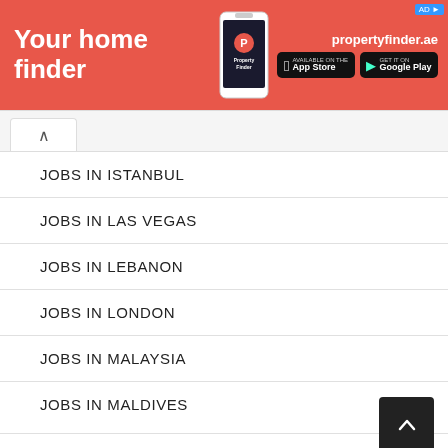[Figure (infographic): Property Finder advertisement banner with red background showing 'Your home finder' text, Property Finder app logo with phone graphic, propertyfinder.ae URL, and App Store / Google Play download badges]
JOBS IN ISTANBUL
JOBS IN LAS VEGAS
JOBS IN LEBANON
JOBS IN LONDON
JOBS IN MALAYSIA
JOBS IN MALDIVES
JOBS IN MALTA